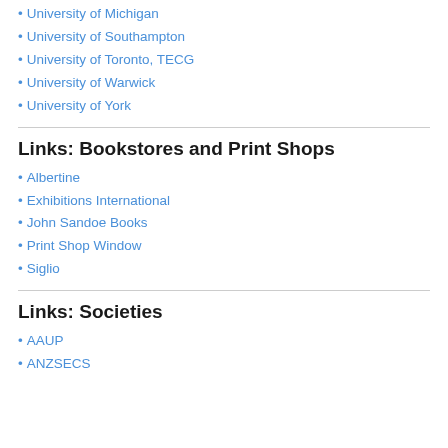University of Michigan
University of Southampton
University of Toronto, TECG
University of Warwick
University of York
Links: Bookstores and Print Shops
Albertine
Exhibitions International
John Sandoe Books
Print Shop Window
Siglio
Links: Societies
AAUP
ANZSECS